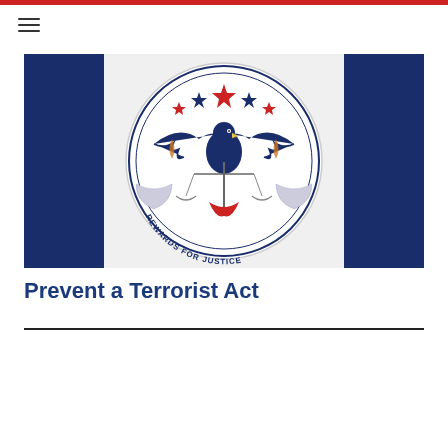[Figure (logo): Rewards for Justice official seal/emblem on a dark blue banner background. The circular seal shows an eagle with spread wings holding scales of justice, with stars above and text 'REWARDS FOR JUSTICE' around the border.]
Prevent a Terrorist Act